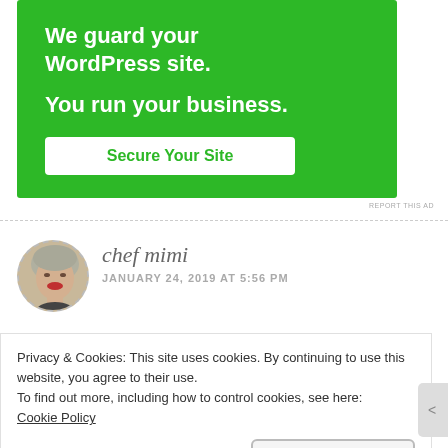[Figure (screenshot): Green advertisement banner: 'We guard your WordPress site. You run your business.' with a white 'Secure Your Site' button]
REPORT THIS AD
[Figure (photo): Circular avatar photo of chef mimi – a woman with short blonde/grey hair and red lips]
chef mimi
JANUARY 24, 2019 AT 5:56 PM
Privacy & Cookies: This site uses cookies. By continuing to use this website, you agree to their use.
To find out more, including how to control cookies, see here:
Cookie Policy
Close and accept